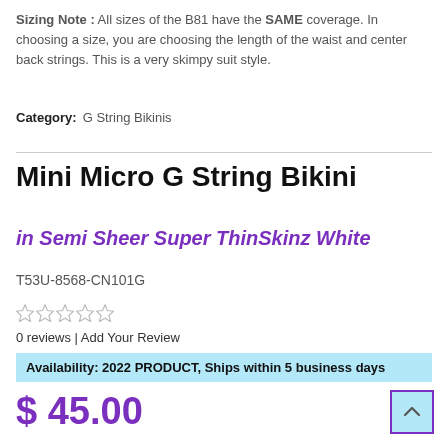Sizing Note : All sizes of the B81 have the SAME coverage. In choosing a size, you are choosing the length of the waist and center back strings. This is a very skimpy suit style.
Category: G String Bikinis
Mini Micro G String Bikini
in Semi Sheer Super ThinSkinz White
T53U-8568-CN101G
0 reviews | Add Your Review
Availability: 2022 PRODUCT, Ships within 5 business days
$ 45.00